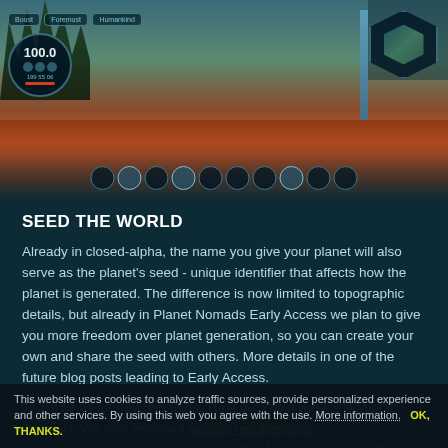[Figure (screenshot): Game screenshot from Planet Nomads showing a red and orange alien landscape with HUD elements including a circular health/status display showing 100.0, inventory bar at the bottom, and a hexagonal minimap in the top right corner.]
SEED THE WORLD
Already in closed-alpha, the name you give your planet will also serve as the planet's seed - unique identifier that affects how the planet is generated. The difference is now limited to topographic details, but already in Planet Nomads Early Access we plan to give you more freedom over planet generation, so you can create your own and share the seed with others. More details in one of the future blog posts leading to Early Access.
That'll be all for now, Nomads. Tune in to next week's Nomadic Journals. We also released system requirements of Planet Nomads in case you missed it. Not bad for a sandbox game that has to generate massive planets,
This website uses cookies to analyze traffic sources, provide personalized experience and other services. By using this web you agree with the use. More information.   OK, THANKS.